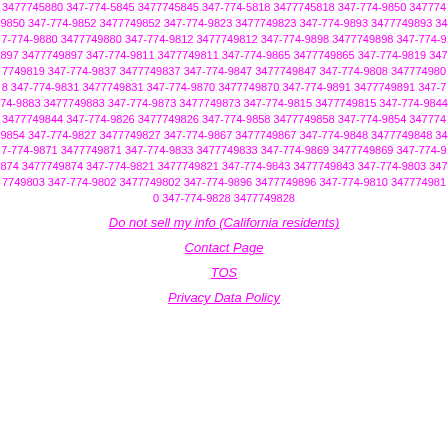3477745880 347-774-5845 3477745845 347-774-5818 3477745818 347-774-9850 3477749850 347-774-9852 3477749852 347-774-9823 3477749823 347-774-9893 3477749893 347-774-9880 3477749880 347-774-9812 3477749812 347-774-9898 3477749898 347-774-9897 3477749897 347-774-9811 3477749811 347-774-9865 3477749865 347-774-9819 3477749819 347-774-9837 3477749837 347-774-9847 3477749847 347-774-9808 3477749808 347-774-9831 3477749831 347-774-9870 3477749870 347-774-9891 3477749891 347-774-9883 3477749883 347-774-9873 3477749873 347-774-9815 3477749815 347-774-9844 3477749844 347-774-9826 3477749826 347-774-9858 3477749858 347-774-9854 3477749854 347-774-9827 3477749827 347-774-9867 3477749867 347-774-9848 3477749848 347-774-9871 3477749871 347-774-9833 3477749833 347-774-9869 3477749869 347-774-9874 3477749874 347-774-9821 3477749821 347-774-9843 3477749843 347-774-9803 3477749803 347-774-9802 3477749802 347-774-9896 3477749896 347-774-9810 3477749810 347-774-9828 3477749828
Do not sell my info (California residents)
Contact Page
TOS
Privacy Data Policy